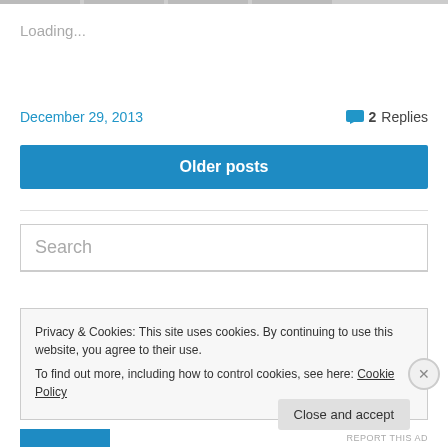Loading...
December 29, 2013
2 Replies
Older posts
Search
Privacy & Cookies: This site uses cookies. By continuing to use this website, you agree to their use.
To find out more, including how to control cookies, see here: Cookie Policy
Close and accept